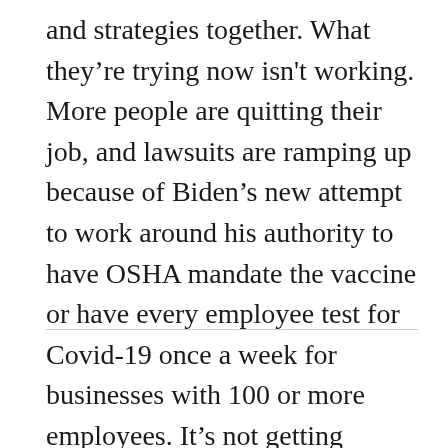and strategies together. What they're trying now isn't working. More people are quitting their job, and lawsuits are ramping up because of Biden's new attempt to work around his authority to have OSHA mandate the vaccine or have every employee test for Covid-19 once a week for businesses with 100 or more employees. It's not getting better, and that's a significant problem. 2024 can't come soon enough, and more Biden voters regret their decision every day.